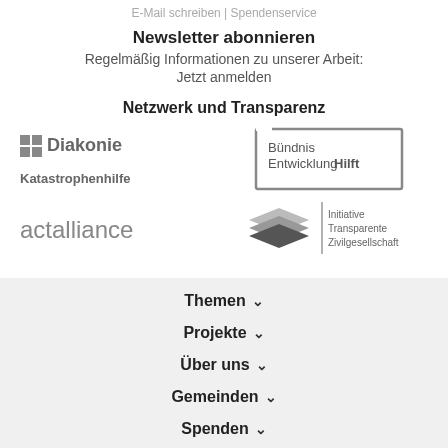E-Mail schreiben | Spendenservice
Newsletter abonnieren
Regelmäßig Informationen zu unserer Arbeit:
Jetzt anmelden
Netzwerk und Transparenz
[Figure (logo): Diakonie Katastrophenhilfe logo with grid icon]
[Figure (logo): Bündnis Entwicklung Hilft logo with square border]
[Figure (logo): actalliance logo in grey text]
[Figure (logo): Initiative Transparente Zivilgesellschaft logo with layered diamond shapes]
Themen
Projekte
Über uns
Gemeinden
Spenden